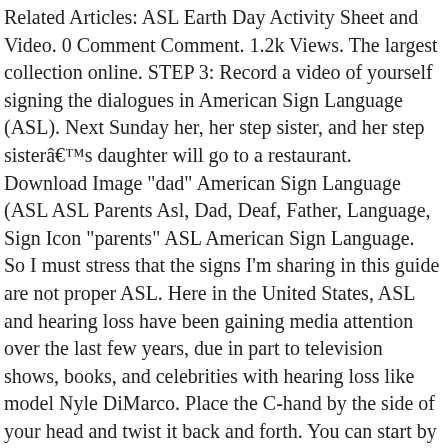Related Articles: ASL Earth Day Activity Sheet and Video. 0 Comment Comment. 1.2k Views. The largest collection online. STEP 3: Record a video of yourself signing the dialogues in American Sign Language (ASL). Next Sunday her, her step sister, and her step sisterâs daughter will go to a restaurant. Download Image "dad" American Sign Language (ASL ASL Parents Asl, Dad, Deaf, Father, Language, Sign Icon "parents" ASL American Sign Language. So I must stress that the signs I'm sharing in this guide are not proper ASL. Here in the United States, ASL and hearing loss have been gaining media attention over the last few years, due in part to television shows, books, and celebrities with hearing loss like model Nyle DiMarco. Place the C-hand by the side of your head and twist it back and forth. You can start by learning â¦ You've reached the end of your free preview. You can learn how to use sign language to communicate with other individuals who are deaf or hard of hearing at home, at school, or at work. Next Friday her grandpa will go see the doctor, his doctor is Deaf. Unlike some deaf children, my brother was not sent away to a deaf or hard of hearing school. This Instructable is here to teach you how to embroider on a Brother